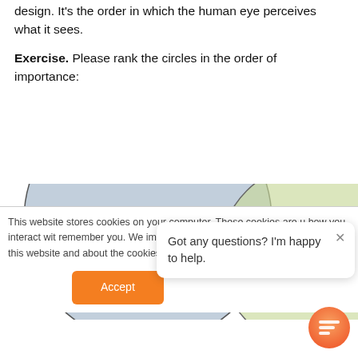design. It's the order in which the human eye perceives what it sees.
Exercise. Please rank the circles in the order of importance:
[Figure (illustration): Two overlapping circles: a large blue-grey circle on the left and a smaller green circle on the right, partially cut off at the bottom of the visible area.]
This website stores cookies on your computer. These cookies are used to collect information about how you interact with our website and allow us to remember you. We use this information in order to improve and customise your browsing experience and for analytics and metrics about our visitors both on this website and other media. To find out more about the cookies we use, see our Privacy Policy
Accept
Got any questions? I'm happy to help.